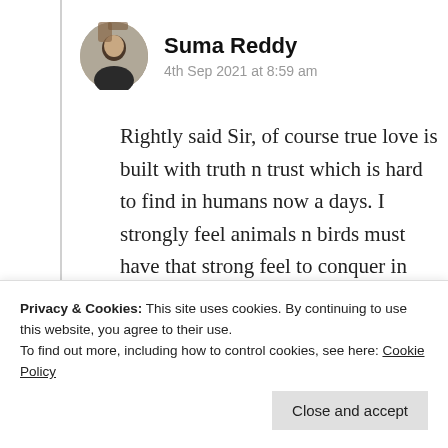[Figure (photo): Circular avatar photo of Suma Reddy]
Suma Reddy
4th Sep 2021 at 8:59 am
Rightly said Sir, of course true love is built with truth n trust which is hard to find in humans now a days. I strongly feel animals n birds must have that strong feel to conquer in each situation being together n feeling for each other. Yes if we notice so much to learn from
Privacy & Cookies: This site uses cookies. By continuing to use this website, you agree to their use.
To find out more, including how to control cookies, see here: Cookie Policy
Close and accept
My next post! Thanks a ton for your